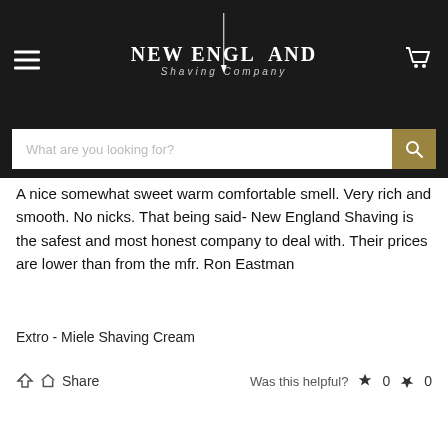New England Shaving Company
What are you looking for?
A nice somewhat sweet warm comfortable smell. Very rich and smooth. No nicks. That being said- New England Shaving is the safest and most honest company to deal with. Their prices are lower than from the mfr. Ron Eastman
Extro - Miele Shaving Cream
Share  Was this helpful?  0  0